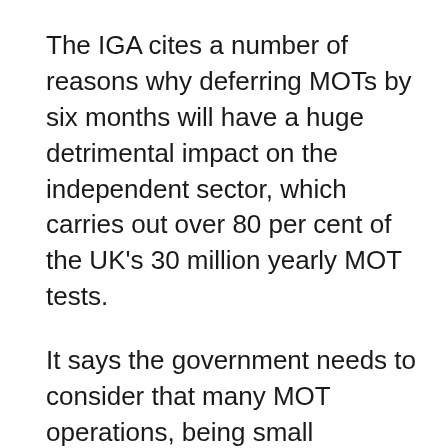The IGA cites a number of reasons why deferring MOTs by six months will have a huge detrimental impact on the independent sector, which carries out over 80 per cent of the UK's 30 million yearly MOT tests.
It says the government needs to consider that many MOT operations, being small businesses, will have their cashflow seriously impacted once this situation is over.
Next year will bring about a significant reduction of tests in March/April/May and with some businesses in this sector only conducting MOT tests, in these instances, the crisis will